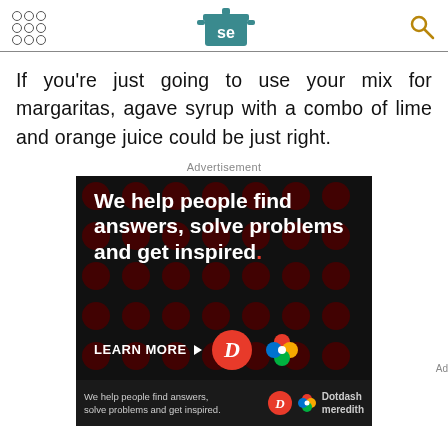[Figure (logo): Serious Eats website header with grid of dots icon on left, 'se' pot logo in center, and search magnifier icon on right]
If you're just going to use your mix for margaritas, agave syrup with a combo of lime and orange juice could be just right.
[Figure (infographic): Dotdash Meredith advertisement on dark background with red dot pattern. Large white bold text reads 'We help people find answers, solve problems and get inspired.' with red period. 'LEARN MORE' button with arrow. Dotdash D logo and Meredith colorful flower logo at bottom right. Sub-banner repeats tagline with logos and 'Dotdash meredith' branding.]